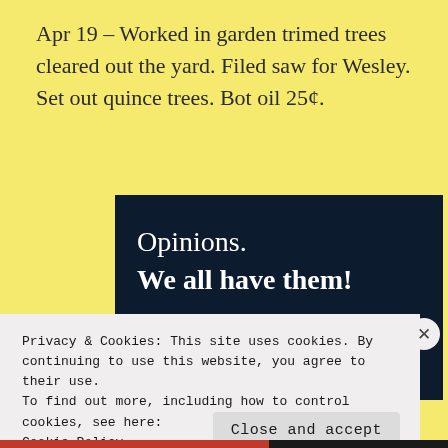Apr 19 – Worked in garden trimed trees cleared out the yard. Filed saw for Wesley. Set out quince trees. Bot oil 25¢.
[Figure (screenshot): Dark navy advertisement banner with white text reading 'Opinions.' on first line and 'We all have them!' in bold on second line, with a pink button and a circular element at the bottom.]
Privacy & Cookies: This site uses cookies. By continuing to use this website, you agree to their use.
To find out more, including how to control cookies, see here:
Cookie Policy
Close and accept